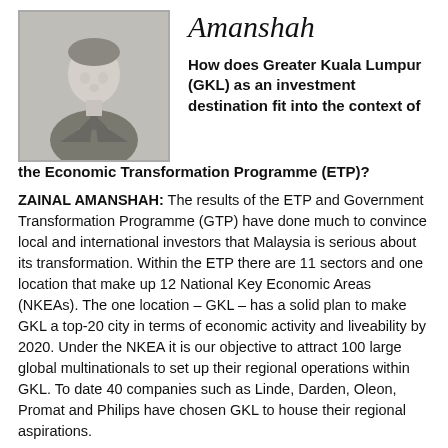[Figure (photo): Black and white portrait photo of a man in formal attire]
Amanshah
How does Greater Kuala Lumpur (GKL) as an investment destination fit into the context of the Economic Transformation Programme (ETP)?
ZAINAL AMANSHAH: The results of the ETP and Government Transformation Programme (GTP) have done much to convince local and international investors that Malaysia is serious about its transformation. Within the ETP there are 11 sectors and one location that make up 12 National Key Economic Areas (NKEAs). The one location – GKL – has a solid plan to make GKL a top-20 city in terms of economic activity and liveability by 2020. Under the NKEA it is our objective to attract 100 large global multinationals to set up their regional operations within GKL. To date 40 companies such as Linde, Darden, Oleon, Promat and Philips have chosen GKL to house their regional aspirations.
Which value-added industries are being earmarked for investment within the GKL region?